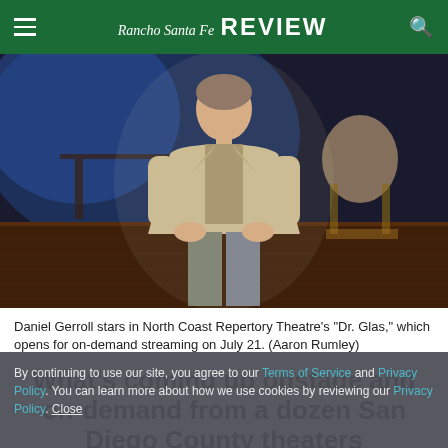Rancho Santa Fe Review
[Figure (photo): Daniel Gerroll sitting on stage in period costume (beige suit, vest, dark tie) under dramatic blue stage lighting, with wooden floor, a table and ornate chair visible in background]
Daniel Gerroll stars in North Coast Repertory Theatre's “Dr. Glas,” which opens for on-demand streaming on July 21. (Aaron Rumley)
By continuing to use our site, you agree to our Terms of Service and Privacy Policy. You can learn more about how we use cookies by reviewing our Privacy Policy. Close
What’s coming up onstage and on-demand from a dozen San Diego County theaters